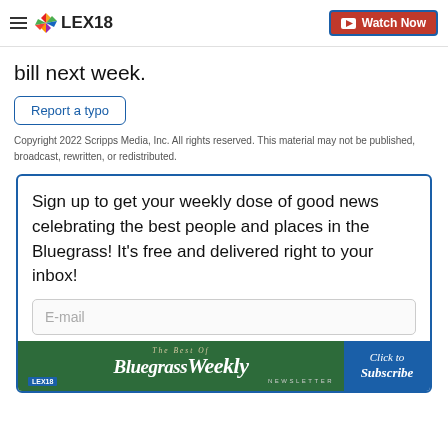LEX18 | Watch Now
bill next week.
Report a typo
Copyright 2022 Scripps Media, Inc. All rights reserved. This material may not be published, broadcast, rewritten, or redistributed.
Sign up to get your weekly dose of good news celebrating the best people and places in the Bluegrass! It's free and delivered right to your inbox!
[Figure (screenshot): Bluegrass Weekly newsletter banner with green and blue sections, italic serif title, LEX18 logo, and 'Click to Subscribe' button]